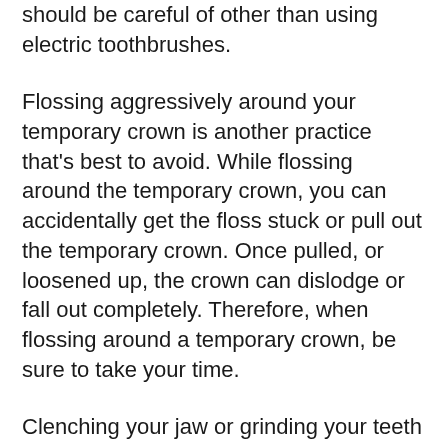should be careful of other than using electric toothbrushes.
Flossing aggressively around your temporary crown is another practice that's best to avoid. While flossing around the temporary crown, you can accidentally get the floss stuck or pull out the temporary crown. Once pulled, or loosened up, the crown can dislodge or fall out completely. Therefore, when flossing around a temporary crown, be sure to take your time.
Clenching your jaw or grinding your teeth are things you should also be aware of